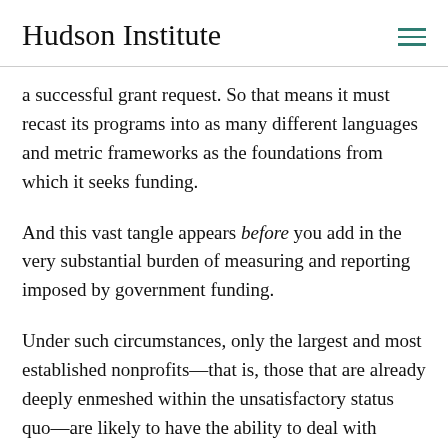Hudson Institute
a successful grant request. So that means it must recast its programs into as many different languages and metric frameworks as the foundations from which it seeks funding.
And this vast tangle appears before you add in the very substantial burden of measuring and reporting imposed by government funding.
Under such circumstances, only the largest and most established nonprofits—that is, those that are already deeply enmeshed within the unsatisfactory status quo—are likely to have the ability to deal with metrics-based fund…